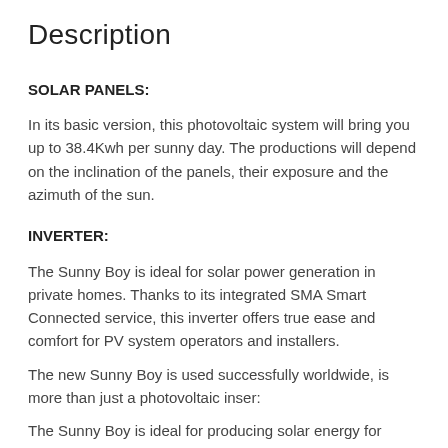Description
SOLAR PANELS:
In its basic version, this photovoltaic system will bring you up to 38.4Kwh per sunny day. The productions will depend on the inclination of the panels, their exposure and the azimuth of the sun.
INVERTER:
The Sunny Boy is ideal for solar power generation in private homes. Thanks to its integrated SMA Smart Connected service, this inverter offers true ease and comfort for PV system operators and installers.
The new Sunny Boy is used successfully worldwide, is more than just a photovoltaic inser:
The Sunny Boy is ideal for producing solar energy for single-family homes.